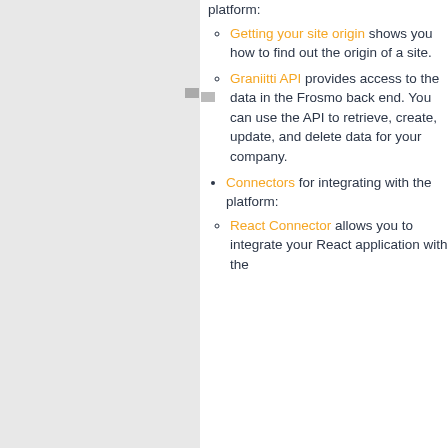[Figure (other): Small icon/logo placeholder in the left gray panel]
platform:
Getting your site origin shows you how to find out the origin of a site.
Graniitti API provides access to the data in the Frosmo back end. You can use the API to retrieve, create, update, and delete data for your company.
Connectors for integrating with the platform:
React Connector allows you to integrate your React application with the